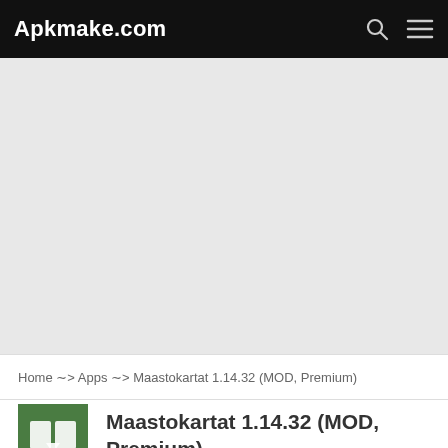Apkmake.com
[Figure (other): Grey advertisement placeholder area]
Home ~> Apps ~> Maastokartat 1.14.32 (MOD, Premium)
[Figure (logo): Green app icon with white open book/map symbol]
Maastokartat 1.14.32 (MOD, Premium)